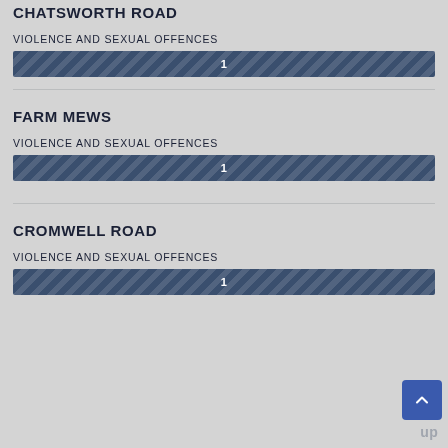CHATSWORTH ROAD
VIOLENCE AND SEXUAL OFFENCES
[Figure (bar-chart): Violence and Sexual Offences - Chatsworth Road]
FARM MEWS
VIOLENCE AND SEXUAL OFFENCES
[Figure (bar-chart): Violence and Sexual Offences - Farm Mews]
CROMWELL ROAD
VIOLENCE AND SEXUAL OFFENCES
[Figure (bar-chart): Violence and Sexual Offences - Cromwell Road]